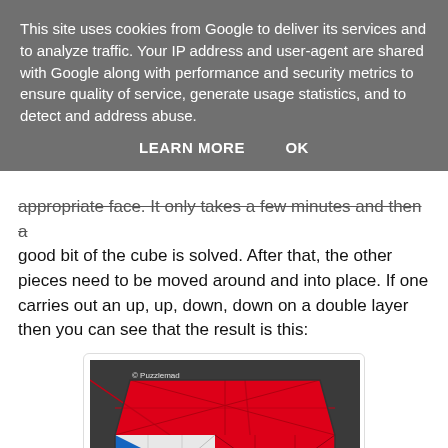This site uses cookies from Google to deliver its services and to analyze traffic. Your IP address and user-agent are shared with Google along with performance and security metrics to ensure quality of service, generate usage statistics, and to detect and address abuse.
LEARN MORE    OK
appropriate face. It only takes a few minutes and then a good bit of the cube is solved. After that, the other pieces need to be moved around and into place. If one carries out an up, up, down, down on a double layer then you can see that the result is this:
[Figure (photo): A colorful Rubik's cube variant (possibly a flower/skewb cube) with red top face, blue and white pieces visible on the sides, photographed on a dark surface. Watermark: © Puzzlemad]